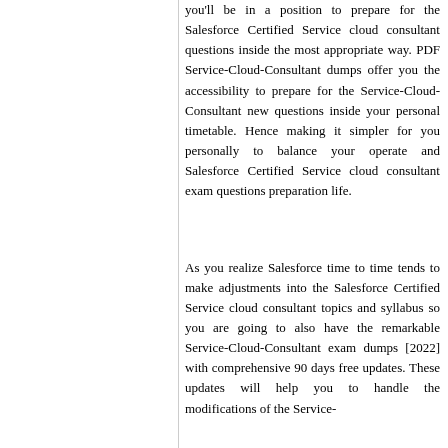you'll be in a position to prepare for the Salesforce Certified Service cloud consultant questions inside the most appropriate way. PDF Service-Cloud-Consultant dumps offer you the accessibility to prepare for the Service-Cloud-Consultant new questions inside your personal timetable. Hence making it simpler for you personally to balance your operate and Salesforce Certified Service cloud consultant exam questions preparation life.
As you realize Salesforce time to time tends to make adjustments into the Salesforce Certified Service cloud consultant topics and syllabus so you are going to also have the remarkable Service-Cloud-Consultant exam dumps [2022] with comprehensive 90 days free updates. These updates will help you to handle the modifications of the Service...